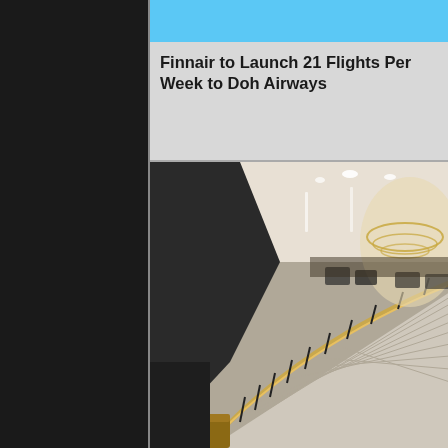Finnair to Launch 21 Flights Per Week to Doh Airways
[Figure (photo): Interior of an airport lounge or terminal showing a grand staircase with gold/brass railing, marble-look steps, dark decorative balustrades, recessed lighting in the ceiling, a chandelier visible in the background, and lounge seating areas.]